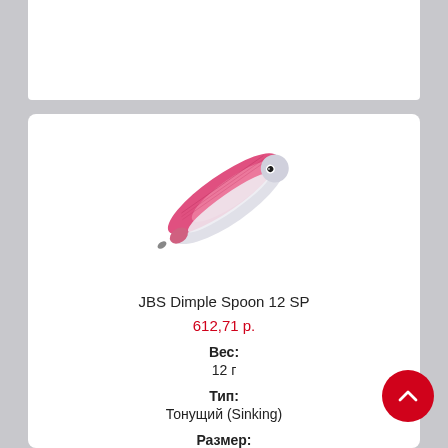[Figure (photo): A fishing lure (JBS Dimple Spoon 12 SP) shown diagonally, pink/red and silver coloring, shaped like a small fish with an eye detail.]
JBS Dimple Spoon 12 SP
612,71 р.
Вес:
12 г
Тип:
Тонущий (Sinking)
Размер: